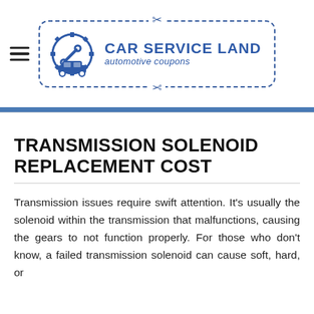[Figure (logo): Car Service Land automotive coupons logo with gear and car icon inside a dashed rounded rectangle border with scissors decoration]
TRANSMISSION SOLENOID REPLACEMENT COST
Transmission issues require swift attention. It's usually the solenoid within the transmission that malfunctions, causing the gears to not function properly. For those who don't know, a failed transmission solenoid can cause soft, hard, or